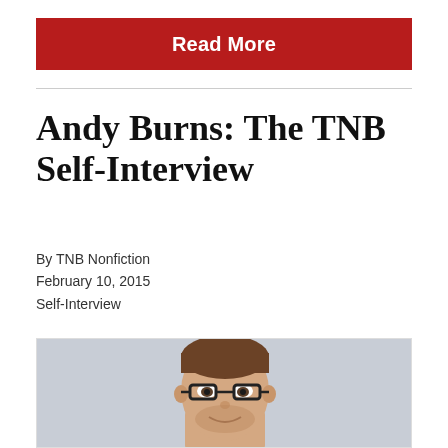[Figure (other): Red 'Read More' button bar]
Andy Burns: The TNB Self-Interview
By TNB Nonfiction
February 10, 2015
Self-Interview
[Figure (photo): Headshot of a man with glasses and short brown hair, smiling, against a grey background]